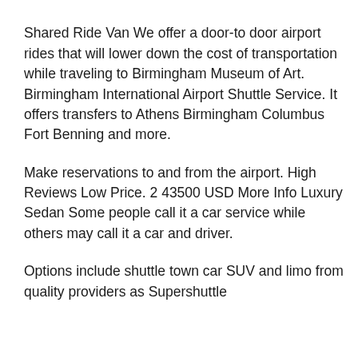Customer Service.
Shared Ride Van We offer a door-to door airport rides that will lower down the cost of transportation while traveling to Birmingham Museum of Art. Birmingham International Airport Shuttle Service. It offers transfers to Athens Birmingham Columbus Fort Benning and more.
Make reservations to and from the airport. High Reviews Low Price. 2 43500 USD More Info Luxury Sedan Some people call it a car service while others may call it a car and driver.
Options include shuttle town car SUV and limo from quality providers as Supershuttle